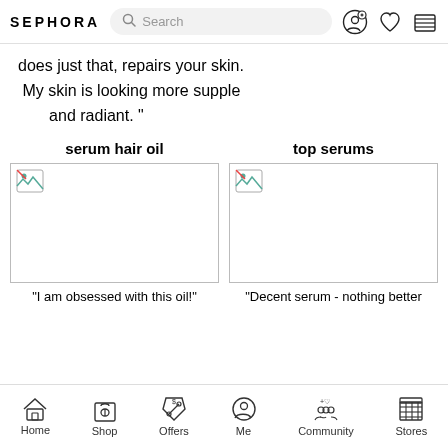SEPHORA | Search bar | profile icon | heart icon | cart icon
does just that, repairs your skin. My skin is looking more supple and radiant. "
serum hair oil
[Figure (photo): Product image placeholder (broken image) for serum hair oil]
top serums
[Figure (photo): Product image placeholder (broken image) for top serums]
"I am obsessed with this oil!"
"Decent serum - nothing better
Home | Shop | Offers | Me | Community | Stores